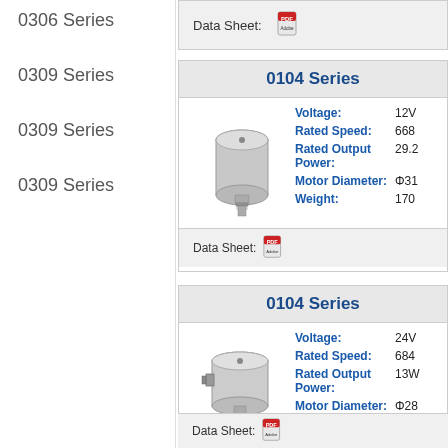0306 Series
0309 Series
0309 Series
0309 Series
Data Sheet:
0104 Series
[Figure (photo): Small cylindrical DC motor with threaded shaft, the 0104 Series motor at 12V]
Voltage: 12V
Rated Speed: 668
Rated Output Power: 29.2
Motor Diameter: Φ31
Weight: 170
Data Sheet:
0104 Series
[Figure (photo): Cylindrical DC motor with side connector, the 0104 Series motor at 24V]
Voltage: 24V
Rated Speed: 684
Rated Output Power: 13W
Motor Diameter: Φ28
Weight: 150
Data Sheet: